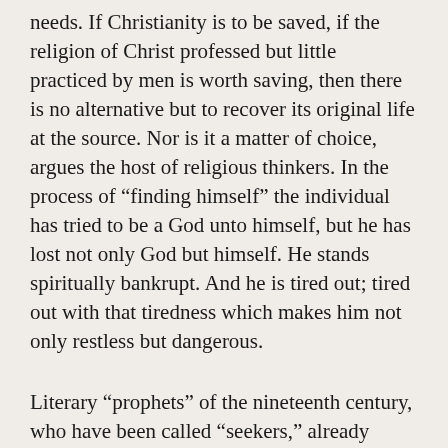needs. If Christianity is to be saved, if the religion of Christ professed but little practiced by men is worth saving, then there is no alternative but to recover its original life at the source. Nor is it a matter of choice, argues the host of religious thinkers. In the process of “finding himself” the individual has tried to be a God unto himself, but he has lost not only God but himself. He stands spiritually bankrupt. And he is tired out; tired out with that tiredness which makes him not only restless but dangerous.
Literary “prophets” of the nineteenth century, who have been called “seekers,” already foresaw or forefelt the plight in which humanity would find itself. Men like Gogol, Dos-toevsky, and Tolstoy in Russia, Baudelaire and Amiel in France, and Henry Adams in America, to cite a few extreme examples at random, sought anchorage for humanity and themselves in some faith, which they could